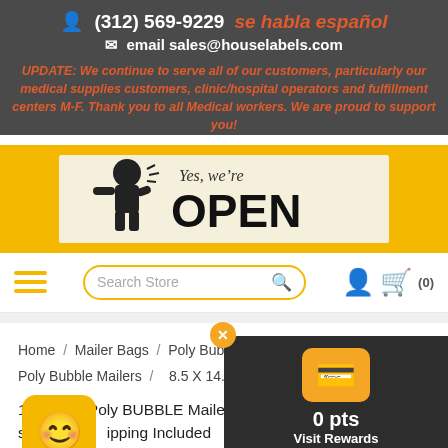(312) 569-9229   se habla español   email sales@houselabels.com
UPDATE: We continue to serve all of our customers, particularly our medical supplies customers, clinic/hospital operators and fulfillment centers M-F. Thank you to all Medical workers. We are proud to support you!
[Figure (illustration): Yes, we're OPEN sign with a cartoon man]
[Figure (screenshot): Navigation bar with hamburger menu, Search Store input, user icon, and cart (0)]
Home / Mailer Bags / Poly Bubble Mailers / Poly Bubble Mailers / 8.5 X 14.5 /
100 Bags Poly BUBBLE Mailer 8.5"x14.5" (8.5"x13... spa... ipping Included
[Figure (illustration): Rewards widget showing 0 pts and Visit Rewards Store, with emoji mascot]